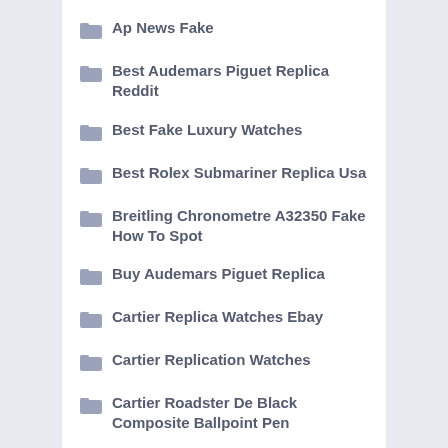Ap News Fake
Best Audemars Piguet Replica Reddit
Best Fake Luxury Watches
Best Rolex Submariner Replica Usa
Breitling Chronometre A32350 Fake How To Spot
Buy Audemars Piguet Replica
Cartier Replica Watches Ebay
Cartier Replication Watches
Cartier Roadster De Black Composite Ballpoint Pen
Cartier Watches For Men Fake
Chineses Copy Of The Ap Mach1 Mount